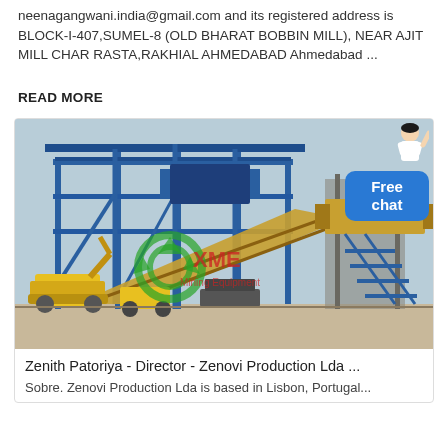neenagangwani.india@gmail.com and its registered address is BLOCK-I-407,SUMEL-8 (OLD BHARAT BOBBIN MILL), NEAR AJIT MILL CHAR RASTA,RAKHIAL AHMEDABAD Ahmedabad ...
READ MORE
[Figure (photo): Industrial machinery and steel structure facility with blue metal framework, conveyor belts, and yellow construction equipment. XME Mining Equipment watermark visible.]
Zenith Patoriya - Director - Zenovi Production Lda ...
Sobre. Zenovi Production Lda is based in Lisbon, Portugal...